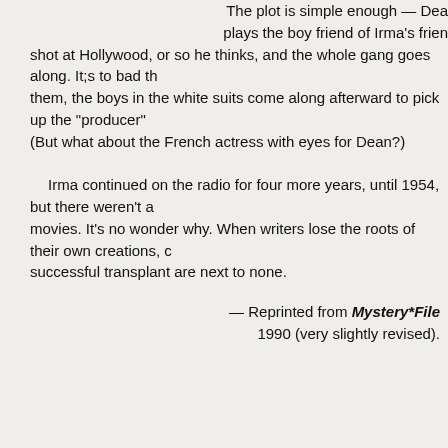The plot is simple enough — Dea plays the boy friend of Irma's frien shot at Hollywood, or so he thinks, and the whole gang goes along. It;s to bad th them, the boys in the white suits come along afterward to pick up the "producer" (But what about the French actress with eyes for Dean?)
Irma continued on the radio for four more years, until 1954, but there weren't a movies. It's no wonder why. When writers lose the roots of their own creations, c successful transplant are next to none.
— Reprinted from Mystery*File 1990 (very slightly revised).